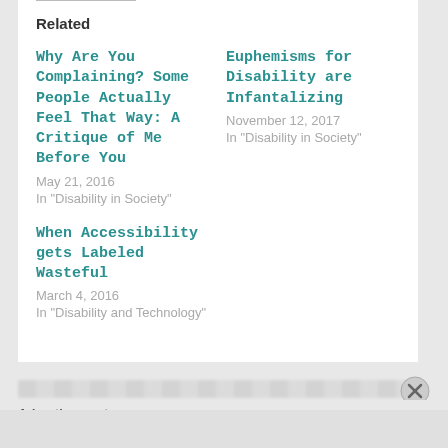Related
Why Are You Complaining? Some People Actually Feel That Way: A Critique of Me Before You
May 21, 2016
In "Disability in Society"
Euphemisms for Disability are Infantalizing
November 12, 2017
In "Disability in Society"
When Accessibility gets Labeled Wasteful
March 4, 2016
In "Disability and Technology"
Advertisements